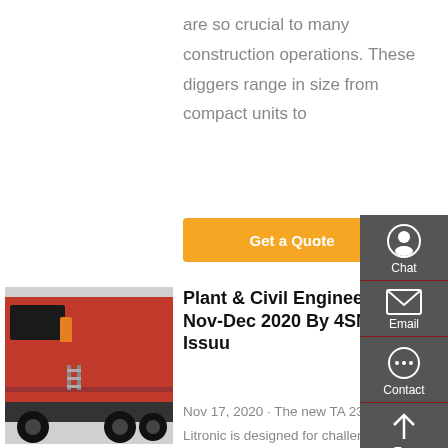are so crucial to many construction operations. These diggers range in size from compact units to
[Figure (other): Orange 'Get a Quote' button]
[Figure (photo): Red heavy construction truck / vehicle photographed from the side]
Plant & Civil Engineer Nov-Dec 2020 By 4SMNI - Issuu
Nov 17, 2020 · The new TA 230 Litronic is designed for challenging off-road applications and impresses with superb off-